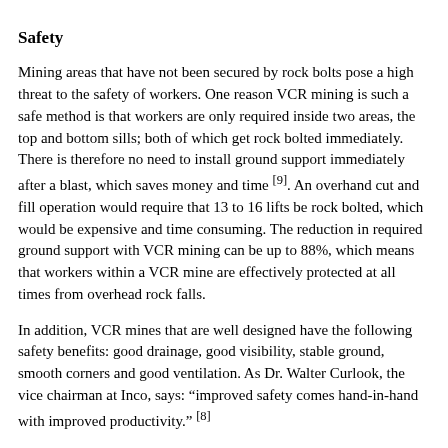Safety
Mining areas that have not been secured by rock bolts pose a high threat to the safety of workers. One reason VCR mining is such a safe method is that workers are only required inside two areas, the top and bottom sills; both of which get rock bolted immediately. There is therefore no need to install ground support immediately after a blast, which saves money and time [9]. An overhand cut and fill operation would require that 13 to 16 lifts be rock bolted, which would be expensive and time consuming. The reduction in required ground support with VCR mining can be up to 88%, which means that workers within a VCR mine are effectively protected at all times from overhead rock falls.
In addition, VCR mines that are well designed have the following safety benefits: good drainage, good visibility, stable ground, smooth corners and good ventilation. As Dr. Walter Curlook, the vice chairman at Inco, says: “improved safety comes hand-in-hand with improved productivity.” [8]